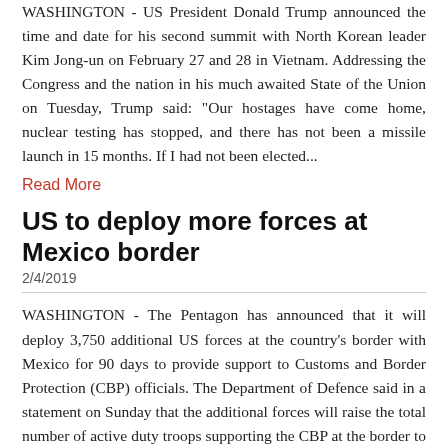WASHINGTON - US President Donald Trump announced the time and date for his second summit with North Korean leader Kim Jong-un on February 27 and 28 in Vietnam. Addressing the Congress and the nation in his much awaited State of the Union on Tuesday, Trump said: "Our hostages have come home, nuclear testing has stopped, and there has not been a missile launch in 15 months. If I had not been elected...
Read More
US to deploy more forces at Mexico border
2/4/2019
WASHINGTON - The Pentagon has announced that it will deploy 3,750 additional US forces at the country's border with Mexico for 90 days to provide support to Customs and Border Protection (CBP) officials. The Department of Defence said in a statement on Sunday that the additional forces will raise the total number of active duty troops supporting the CBP at the border to about 4,350, reports NBC News.
Read More